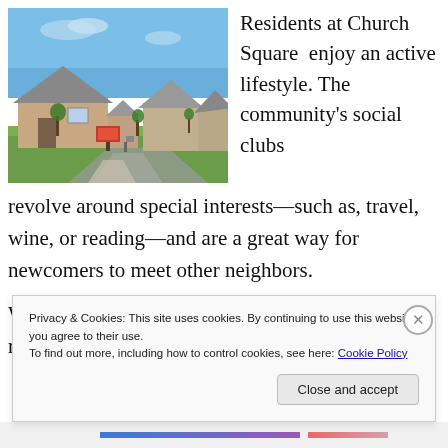[Figure (photo): Exterior photo of Church Square community showing single-story residential homes with brick and siding construction, manicured lawns, trees, driveways, and a real estate sign near the front, under a clear blue sky.]
Residents at Church Square enjoy an active lifestyle. The community's social clubs revolve around special interests—such as, travel, wine, or reading—and are a great way for newcomers to meet other neighbors.
With its great location in the town of Smithfield residents
Privacy & Cookies: This site uses cookies. By continuing to use this website, you agree to their use.
To find out more, including how to control cookies, see here: Cookie Policy